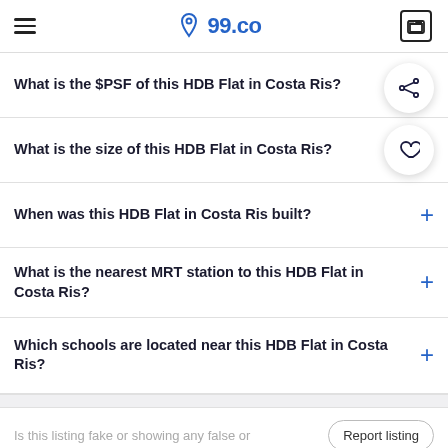99.co
What is the $PSF of this HDB Flat in Costa Ris?
What is the size of this HDB Flat in Costa Ris?
When was this HDB Flat in Costa Ris built?
What is the nearest MRT station to this HDB Flat in Costa Ris?
Which schools are located near this HDB Flat in Costa Ris?
Is this listing fake or showing any false or
Report listing
This listing is no longer available